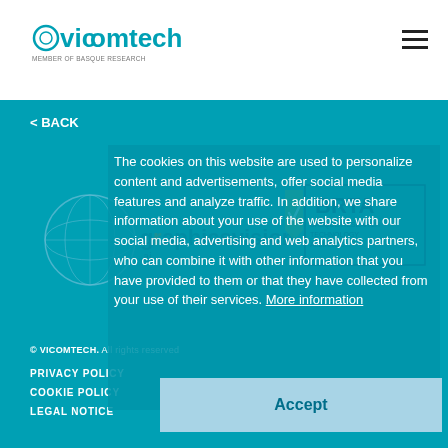vicomtech MEMBER OF BASQUE RESEARCH
< BACK
[Figure (logo): graphicsvision.ai logo with globe graphic and BRTA Basque Research Technology Alliance logo]
The cookies on this website are used to personalize content and advertisements, offer social media features and analyze traffic. In addition, we share information about your use of the website with our social media, advertising and web analytics partners, who can combine it with other information that you have provided to them or that they have collected from your use of their services. More information
Accept
© VICOMTECH. All rights reserved
PRIVACY POLICY
COOKIE POLICY
LEGAL NOTICE